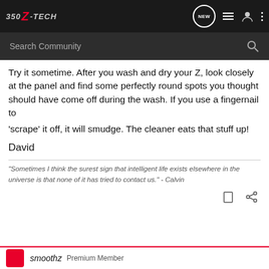350Z-TECH
Try it sometime. After you wash and dry your Z, look closely at the panel and find some perfectly round spots you thought should have come off during the wash. If you use a fingernail to 'scrape' it off, it will smudge. The cleaner eats that stuff up!
David
"Sometimes I think the surest sign that intelligent life exists elsewhere in the universe is that none of it has tried to contact us." - Calvin
smoothz  Premium Member